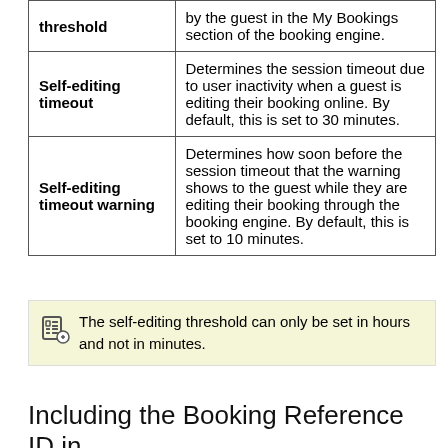| threshold | by the guest in the My Bookings section of the booking engine. |
| Self-editing timeout | Determines the session timeout due to user inactivity when a guest is editing their booking online. By default, this is set to 30 minutes. |
| Self-editing timeout warning | Determines how soon before the session timeout that the warning shows to the guest while they are editing their booking through the booking engine. By default, this is set to 10 minutes. |
The self-editing threshold can only be set in hours and not in minutes.
Including the Booking Reference ID in